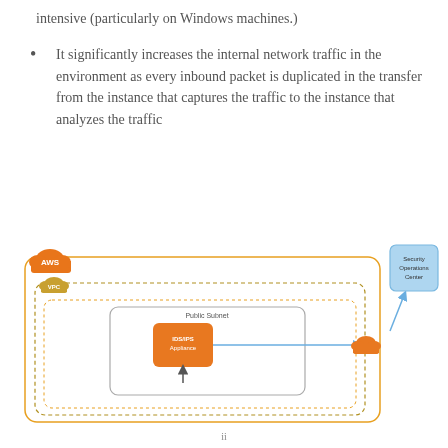intensive (particularly on Windows machines.)
It significantly increases the internal network traffic in the environment as every inbound packet is duplicated in the transfer from the instance that captures the traffic to the instance that analyzes the traffic
[Figure (network-graph): AWS architecture diagram showing a VPC containing nested subnets with an IDS/IPS Appliance in a Public Subnet, connected via arrow to a cloud icon, which connects to a Security Operations Center box outside the AWS boundary.]
ii